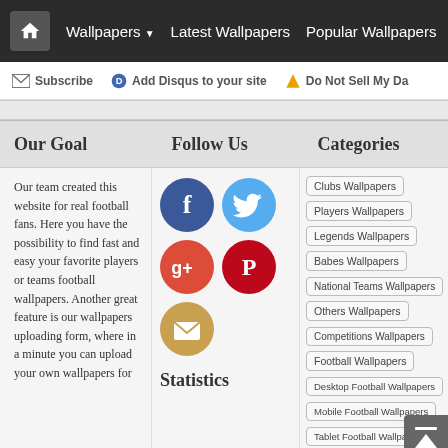Wallpapers | Latest Wallpapers | Popular Wallpapers | Rando...
Subscribe | Add Disqus to your site | Do Not Sell My Da...
Our Goal
Follow Us
Categories
Our team created this website for real football fans. Here you have the possibility to find fast and easy your favorite players or teams football wallpapers. Another great feature is our wallpapers uploading form, where in a minute you can upload your own wallpapers for...
[Figure (infographic): Social media icons: Facebook (dark blue circle with f), Twitter (light blue circle with bird), Google+ (red circle with g+), Pinterest (red circle with P), Email (gold circle with envelope)]
Clubs Wallpapers
Players Wallpapers
Legends Wallpapers
Babes Wallpapers
National Teams Wallpapers
Others Wallpapers
Competitions Wallpapers
Football Wallpapers
Desktop Football Wallpapers
Mobile Football Wallpapers
Tablet Football Wallpapers
Statistics